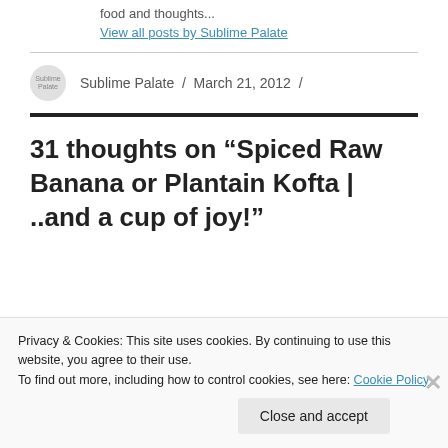food and thoughts...
View all posts by Sublime Palate
Sublime Palate / March 21, 2012 /
31 thoughts on “Spiced Raw Banana or Plantain Kofta | ..and a cup of joy!”
Privacy & Cookies: This site uses cookies. By continuing to use this website, you agree to their use.
To find out more, including how to control cookies, see here: Cookie Policy
Close and accept